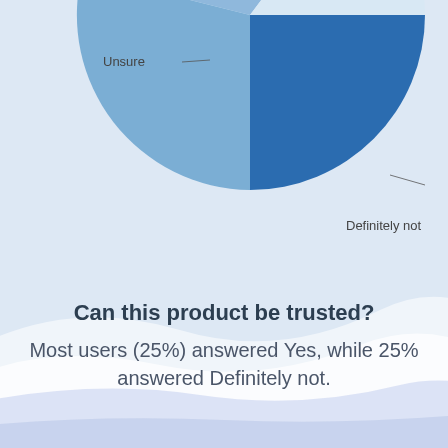[Figure (pie-chart): Can this product be trusted?]
Can this product be trusted?
Most users (25%) answered Yes, while 25% answered Definitely not.